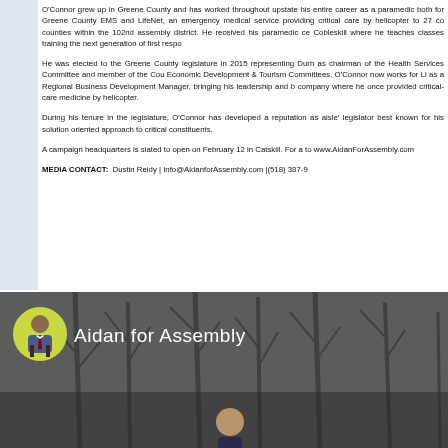O'Connor grew up in Greene County and has worked throughout upstate his entire career as a paramedic both for Greene County EMS and LifeNet, an emergency medical service providing critical care by helicopter to 27 counties within the 102nd assembly district. He received his paramedic certification from Cobleskill where he teaches classes training the next generation of first responders.
He was elected to the Greene County legislature in 2015 representing Durham as chairman of the Health Services Committee and member of the County's Economic Development & Tourism Committees. O'Connor now works for LifeNet as a Regional Business Development Manager, bringing his leadership and back to the company where he once provided critical-care medicine by helicopter.
During his tenure in the legislature, O'Connor has developed a reputation as a 'cross-aisle' legislator best known for his solution oriented approach to critical issues facing constituents.
A campaign headquarters is slated to open on February 12 in Catskill. For additional information go to www.AidanForAssembly.com
MEDIA CONTACT: Dustin Reidy | Info@AidanforAssembly.com |(518) 387-9...
[Figure (photo): Social media banner for Aidan for Assembly campaign showing a man in suit with circular avatar on left against a dark winter tree background, with text 'Aidan for Assembly']